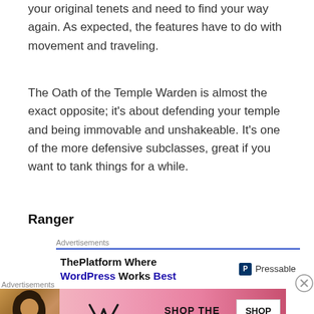your original tenets and need to find your way again. As expected, the features have to do with movement and traveling.
The Oath of the Temple Warden is almost the exact opposite; it's about defending your temple and being immovable and unshakeable. It's one of the more defensive subclasses, great if you want to tank things for a while.
Ranger
[Figure (other): Advertisement banner for Pressable: 'ThePlatform Where WordPress Works Best' with Pressable logo]
[Figure (other): Victoria's Secret advertisement: 'SHOP THE COLLECTION' with SHOP NOW button and model photo]